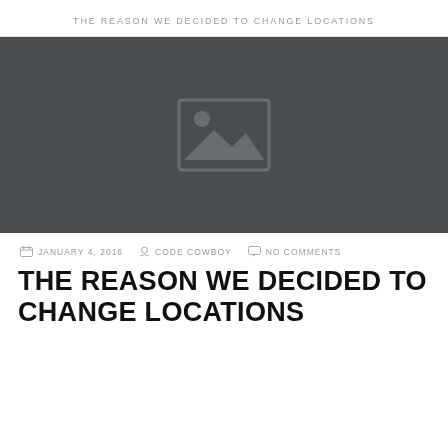THE REASON WE DECIDED TO CHANGE LOCATIONS
[Figure (photo): Dark gray image placeholder with a generic mountain/landscape image icon in the center]
JANUARY 4, 2016   CODE COWBOY   NO COMMENTS
THE REASON WE DECIDED TO CHANGE LOCATIONS